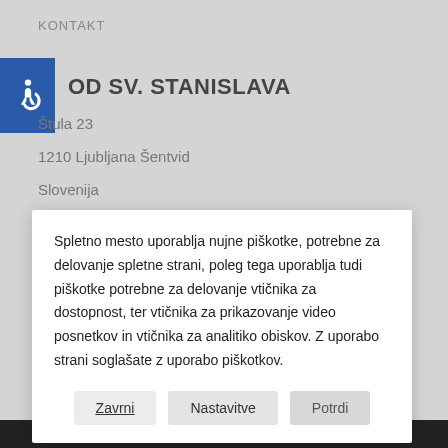KONTAKT
OD SV. STANISLAVA
Štula 23
1210 Ljubljana Šentvid
Slovenija
Spletno mesto uporablja nujne piškotke, potrebne za delovanje spletne strani, poleg tega uporablja tudi piškotke potrebne za delovanje vtičnika za dostopnost, ter vtičnika za prikazovanje video posnetkov in vtičnika za analitiko obiskov. Z uporabo strani soglašate z uporabo piškotkov.